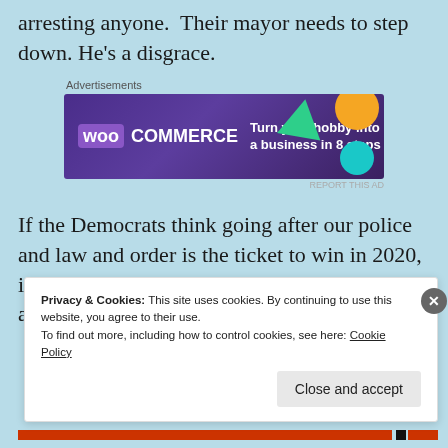arresting anyone. Their mayor needs to step down. He's a disgrace.
[Figure (other): WooCommerce advertisement banner: purple background with geometric shapes, text 'Turn your hobby into a business in 8 steps']
If the Democrats think going after our police and law and order is the ticket to win in 2020, it's over. Trump will win. Or as renowned actor Jon Voight said,
Privacy & Cookies: This site uses cookies. By continuing to use this website, you agree to their use. To find out more, including how to control cookies, see here: Cookie Policy